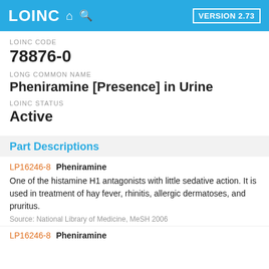LOINC  VERSION 2.73
LOINC CODE
78876-0
LONG COMMON NAME
Pheniramine [Presence] in Urine
LOINC STATUS
Active
Part Descriptions
LP16246-8  Pheniramine
One of the histamine H1 antagonists with little sedative action. It is used in treatment of hay fever, rhinitis, allergic dermatoses, and pruritus.
Source: National Library of Medicine, MeSH 2006
LP16246-8  Pheniramine